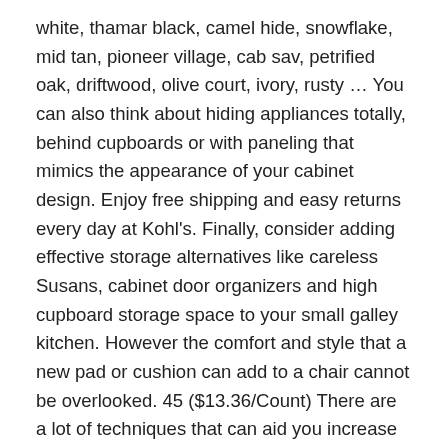white, thamar black, camel hide, snowflake, mid tan, pioneer village, cab sav, petrified oak, driftwood, olive court, ivory, rusty … You can also think about hiding appliances totally, behind cupboards or with paneling that mimics the appearance of your cabinet design. Enjoy free shipping and easy returns every day at Kohl's. Finally, consider adding effective storage alternatives like careless Susans, cabinet door organizers and high cupboard storage space to your small galley kitchen. However the comfort and style that a new pad or cushion can add to a chair cannot be overlooked. 45 ($13.36/Count) There are a lot of techniques that can aid you increase the appearance of depth, height as well as width in your target kitchen chair cushions, and the most effective means to start goes to all-time low. Live better. Adirondack Chair Cushions Target. When it pertains to color pattern for your target kitchen chair cushions, light as well as intense is a wonderful suggestion– lighter colors tend to open up areas, whereas darker ones create a relaxing feel however could make a